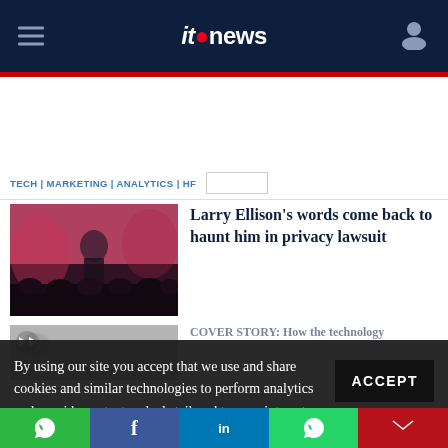itnews
TECH | MARKETING | ANALYTICS | HF
Larry Ellison's words come back to haunt him in privacy lawsuit
COVER STORY: How the technology...
By using our site you accept that we use and share cookies and similar technologies to perform analytics and provide content and ads tailored to your interests. By continuing to use our site, you consent to this. Please see our Cookie Policy for more information.